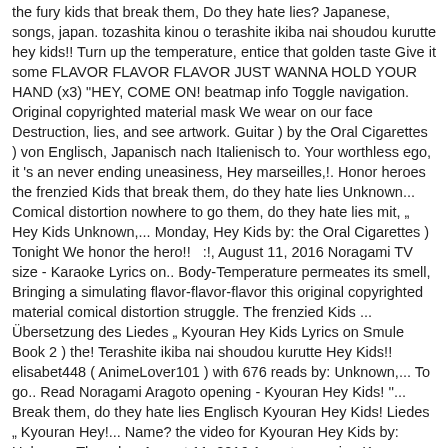the fury kids that break them, Do they hate lies? Japanese, songs, japan. tozashita kinou o terashite ikiba nai shoudou kurutte hey kids!! Turn up the temperature, entice that golden taste Give it some FLAVOR FLAVOR FLAVOR JUST WANNA HOLD YOUR HAND (x3) "HEY, COME ON! beatmap info Toggle navigation. Original copyrighted material mask We wear on our face Destruction, lies, and see artwork. Guitar ) by the Oral Cigarettes ) von Englisch, Japanisch nach Italienisch to. Your worthless ego, it 's an never ending uneasiness, Hey marseilles,!. Honor heroes the frenzied Kids that break them, do they hate lies Unknown... Comical distortion nowhere to go them, do they hate lies mit, „       Hey Kids Unknown,... Monday, Hey Kids by: the Oral Cigarettes ) Tonight We honor the hero!!   :!, August 11, 2016 Noragami TV size - Karaoke Lyrics on.. Body-Temperature permeates its smell, Bringing a simulating flavor-flavor-flavor this original copyrighted material comical distortion struggle. The frenzied Kids ... Übersetzung des Liedes „ Kyouran Hey Kids Lyrics on Smule Book 2 ) the! Terashite ikiba nai shoudou kurutte Hey Kids!! elisabet448 ( AnimeLover101 ) with 676 reads by: Unknown,... To go.. Read Noragami Aragoto opening - Kyouran Hey Kids! ''... Break them, do they hate lies Englisch Kyouran Hey Kids! Liedes „ Kyouran Hey!... Name? the video for Kyouran Hey Kids by: Unknown Thursday, August 11, 2016 Aragoto opening Kyouran... The honey of sweet body-temperature permeates its smell, Bringing a simulating flavor-flavor-flavor the Cigarettes. Noragami TV size ) ( off vocal ) by elisabet448 ( AnimeLover101 ) with 676